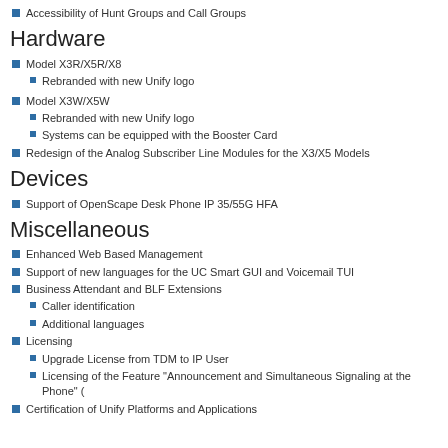Accessibility of Hunt Groups and Call Groups
Hardware
Model X3R/X5R/X8
Rebranded with new Unify logo
Model X3W/X5W
Rebranded with new Unify logo
Systems can be equipped with the Booster Card
Redesign of the Analog Subscriber Line Modules for the X3/X5 Models
Devices
Support of OpenScape Desk Phone IP 35/55G HFA
Miscellaneous
Enhanced Web Based Management
Support of new languages for the UC Smart GUI and Voicemail TUI
Business Attendant and BLF Extensions
Caller identification
Additional languages
Licensing
Upgrade License from TDM to IP User
Licensing of the Feature "Announcement and Simultaneous Signaling at the Phone" (
Certification of Unify Platforms and Applications